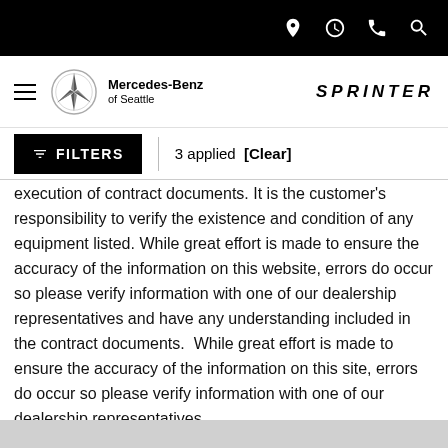Mercedes-Benz of Seattle | SPRINTER
[Figure (screenshot): Filters button with funnel icon, showing '3 applied [Clear]']
execution of contract documents. It is the customer's responsibility to verify the existence and condition of any equipment listed. While great effort is made to ensure the accuracy of the information on this website, errors do occur so please verify information with one of our dealership representatives and have any understanding included in the contract documents.  While great effort is made to ensure the accuracy of the information on this site, errors do occur so please verify information with one of our dealership representatives.